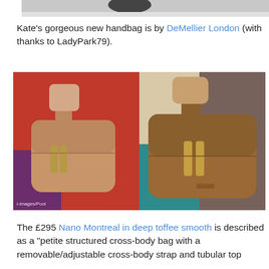[Figure (photo): Top portion of a photo, partially cropped, showing a dark object at top against light background]
Kate's gorgeous new handbag is by DeMellier London (with thanks to LadyPark79).
[Figure (photo): Two side-by-side photos of a tan/camel structured mini handbag with gold hardware (DeMellier Nano Montreal in deep toffee smooth), held by a person's hand. Left image shows lighter tan color against red fabric background, right image shows deeper toffee brown color. Watermark: i-images/Pool]
The £295 Nano Montreal in deep toffee smooth is described as a "petite structured cross-body bag with a removable/adjustable cross-body strap and tubular top